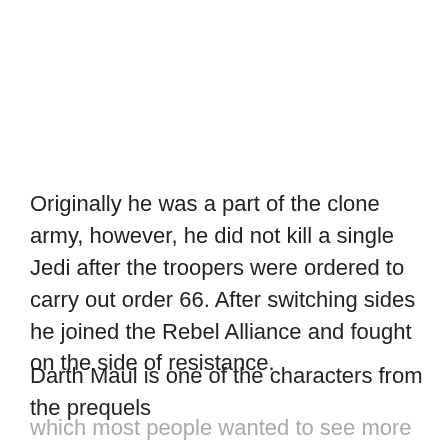Originally he was a part of the clone army, however, he did not kill a single Jedi after the troopers were ordered to carry out order 66. After switching sides he joined the Rebel Alliance and fought on the side of resistance.
Darth Maul is one of the characters from the prequels which most people wanted to see more of and the series delivers on this demand precisely.